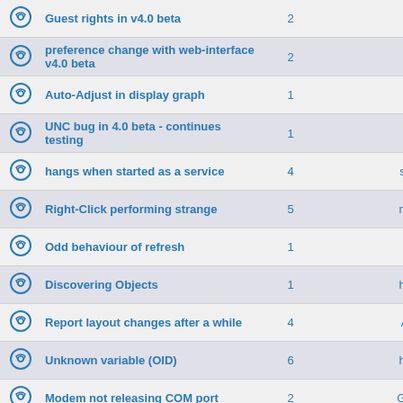|  | Topic | Replies | Last Post By |
| --- | --- | --- | --- |
| [icon] | Guest rights in v4.0 beta | 2 | Marc |
| [icon] | preference change with web-interface v4.0 beta | 2 | Marc |
| [icon] | Auto-Adjust in display graph | 1 | Lud |
| [icon] | UNC bug in 4.0 beta - continues testing | 1 | Marc |
| [icon] | hangs when started as a service | 4 | stladr |
| [icon] | Right-Click performing strange | 5 | mprie |
| [icon] | Odd behaviour of refresh | 1 | Wbtr |
| [icon] | Discovering Objects | 1 | hamo |
| [icon] | Report layout changes after a while | 4 | Astar |
| [icon] | Unknown variable (OID) | 6 | hamo |
| [icon] | Modem not releasing COM port | 2 | Guido |
| [icon] | Disk space issues | 3 | hamo |
| [icon] | Polling intervals | 2 | hamo |
| [icon] | "REPLY" column missing! | 2 | _corebus |
| [icon] | SQL Test Failed | 5 |  |